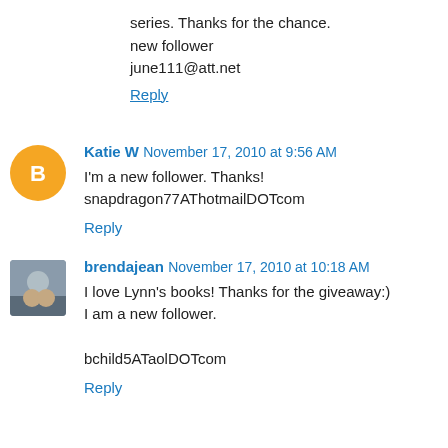series. Thanks for the chance.
new follower
june111@att.net
Reply
Katie W  November 17, 2010 at 9:56 AM
I'm a new follower. Thanks!
snapdragon77AThotmailDOTcom
Reply
brendajean  November 17, 2010 at 10:18 AM
I love Lynn's books! Thanks for the giveaway:)
I am a new follower.

bchild5ATaolDOTcom
Reply